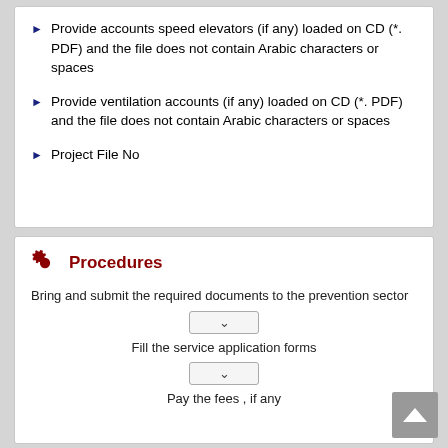Provide accounts speed elevators (if any) loaded on CD (*. PDF) and the file does not contain Arabic characters or spaces
Provide ventilation accounts (if any) loaded on CD (*. PDF) and the file does not contain Arabic characters or spaces
Project File No
Procedures
Bring and submit the required documents to the prevention sector
Fill the service application forms
Pay the fees , if any